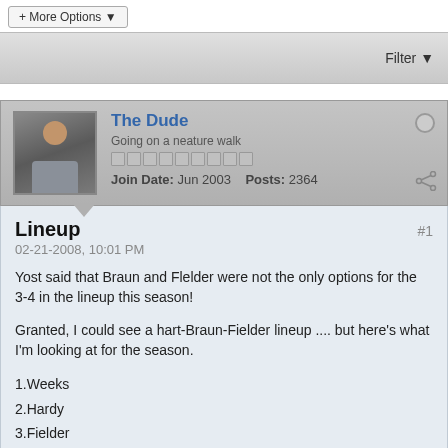+ More Options ▾
Filter ▾
The Dude
Going on a neature walk
Join Date: Jun 2003   Posts: 2364
Lineup
02-21-2008, 10:01 PM
#1
Yost said that Braun and Flelder were not the only options for the 3-4 in the lineup this season!
Granted, I could see a hart-Braun-Fielder lineup .... but here's what I'm looking at for the season.
1.Weeks
2.Hardy
3.Fielder
4.Braun
5.Hart
6.Hall